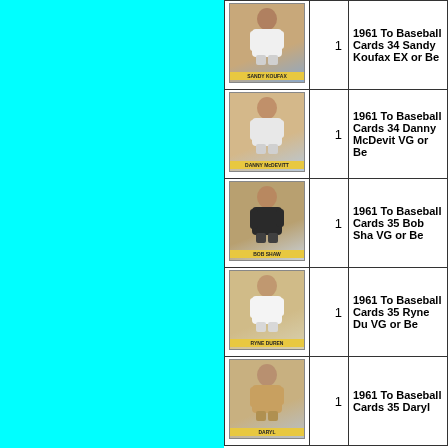| Image | Qty | Description |
| --- | --- | --- |
| [card image] | 1 | 1961 To Baseball Cards 34 Sandy Koufax EX or Be |
| [card image] | 1 | 1961 To Baseball Cards 34 Danny McDevit VG or Be |
| [card image] | 1 | 1961 To Baseball Cards 35 Bob Sha VG or Be |
| [card image] | 1 | 1961 To Baseball Cards 35 Ryne Du VG or Be |
| [card image] | 1 | 1961 To Baseball Cards 35 Daryl |